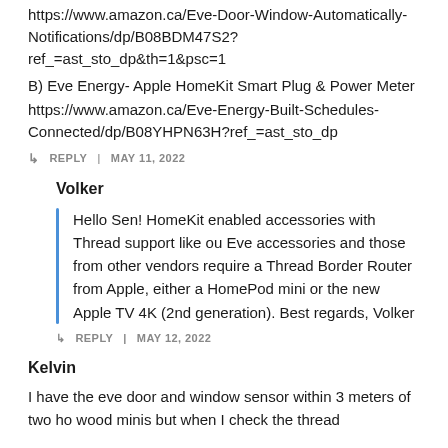https://www.amazon.ca/Eve-Door-Window-Automatically-Notifications/dp/B08BDM47S2?ref_=ast_sto_dp&th=1&psc=1
B) Eve Energy- Apple HomeKit Smart Plug & Power Meter
https://www.amazon.ca/Eve-Energy-Built-Schedules-Connected/dp/B08YHPN63H?ref_=ast_sto_dp
↳ REPLY | MAY 11, 2022
Volker
Hello Sen! HomeKit enabled accessories with Thread support like ou Eve accessories and those from other vendors require a Thread Border Router from Apple, either a HomePod mini or the new Apple TV 4K (2nd generation). Best regards, Volker
↳ REPLY | MAY 12, 2022
Kelvin
I have the eve door and window sensor within 3 meters of two ho wood minis but when I check the thread